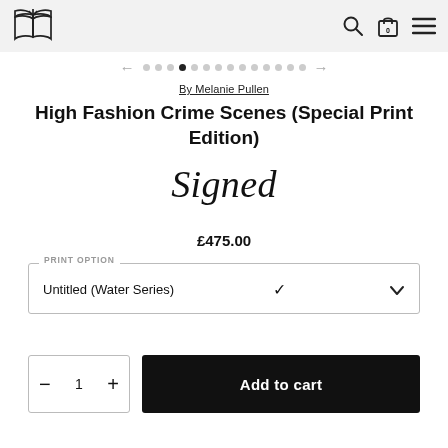Bookstore website header with logo and navigation icons (search, cart, menu)
[Figure (other): Carousel navigation dots with left and right arrows. One dot is filled/active.]
By Melanie Pullen
High Fashion Crime Scenes (Special Print Edition)
Signed
£475.00
PRINT OPTION — Untitled (Water Series)
Untitled (Water Series)
Add to cart